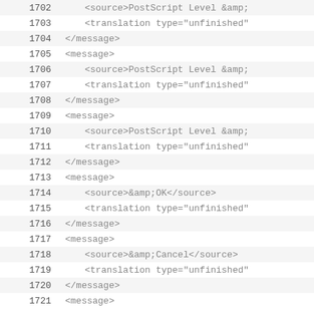| 1702 | <source>PostScript Level &amp; |
| 1703 |     <translation type="unfinished" |
| 1704 | </message> |
| 1705 | <message> |
| 1706 |     <source>PostScript Level &amp; |
| 1707 |     <translation type="unfinished" |
| 1708 | </message> |
| 1709 | <message> |
| 1710 |     <source>PostScript Level &amp; |
| 1711 |     <translation type="unfinished" |
| 1712 | </message> |
| 1713 | <message> |
| 1714 |     <source>&amp;OK</source> |
| 1715 |     <translation type="unfinished" |
| 1716 | </message> |
| 1717 | <message> |
| 1718 |     <source>&amp;Cancel</source> |
| 1719 |     <translation type="unfinished" |
| 1720 | </message> |
| 1721 | <message> |